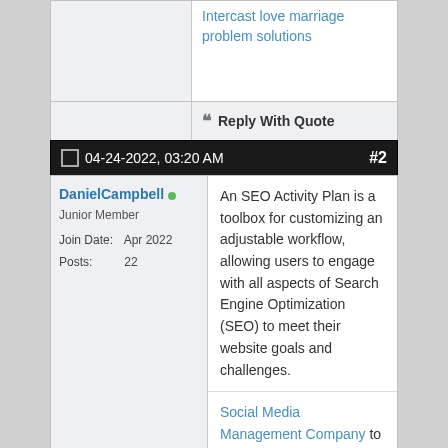Intercast love marriage problem solutions
Reply With Quote
04-24-2022, 03:20 AM  #2
DanielCampbell
Junior Member
Join Date: Apr 2022
Posts: 22
An SEO Activity Plan is a toolbox for customizing an adjustable workflow, allowing users to engage with all aspects of Search Engine Optimization (SEO) to meet their website goals and challenges.
Social Media Management Company to grow your business.